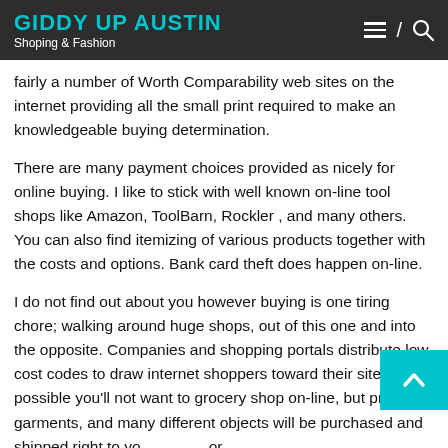GIDDY UP AUSTIN
Shoping & Fashion
fairly a number of Worth Comparability web sites on the internet providing all the small print required to make an knowledgeable buying determination.
There are many payment choices provided as nicely for online buying. I like to stick with well known on-line tool shops like Amazon, ToolBarn, Rockler , and many others. You can also find itemizing of various products together with the costs and options. Bank card theft does happen on-line.
I do not find out about you however buying is one tiring chore; walking around huge shops, out of this one and into the opposite. Companies and shopping portals distribute low cost codes to draw internet shoppers toward their sites. It's possible you'll not want to grocery shop on-line, but presents, garments, and many different objects will be purchased and shipped right to your door.
A third advantage of online purchasing is the safety afforded by